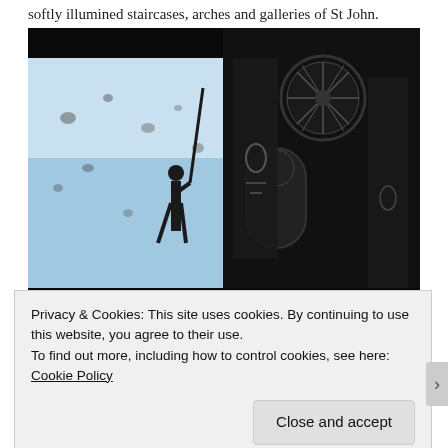softly illumined staircases, arches and galleries of St John.
[Figure (photo): Dark interior of a church (St John) with a large circular rose window and arched windows visible. On the left is a bright projected image showing a silhouette of a person holding a long stick/pole against a bright bluish sky with scattered dark spots. To the right, hanging banners/fabric with graphic designs are visible in the dimly lit church interior.]
Privacy & Cookies: This site uses cookies. By continuing to use this website, you agree to their use.
To find out more, including how to control cookies, see here: Cookie Policy
Close and accept